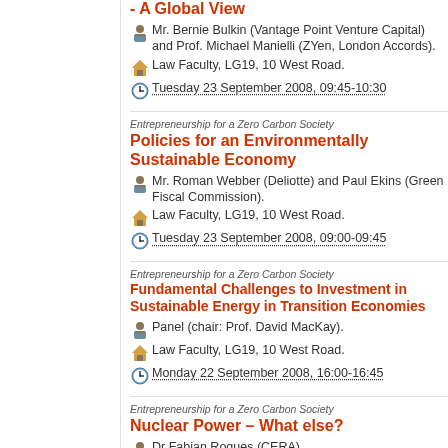- A Global View
Mr. Bernie Bulkin (Vantage Point Venture Capital) and Prof. Michael Manielli (ZYen, London Accords).
Law Faculty, LG19, 10 West Road.
Tuesday 23 September 2008, 09:45-10:30
Entrepreneurship for a Zero Carbon Society
Policies for an Environmentally Sustainable Economy
Mr. Roman Webber (Deliotte) and Paul Ekins (Green Fiscal Commission).
Law Faculty, LG19, 10 West Road.
Tuesday 23 September 2008, 09:00-09:45
Entrepreneurship for a Zero Carbon Society
Fundamental Challenges to Investment in Sustainable Energy in Transition Economies
Panel (chair: Prof. David MacKay).
Law Faculty, LG19, 10 West Road.
Monday 22 September 2008, 16:00-16:45
Entrepreneurship for a Zero Carbon Society
Nuclear Power – What else?
Dr Fabian Roques (CERA).
Law Faculty, LG19, 10 West Road.